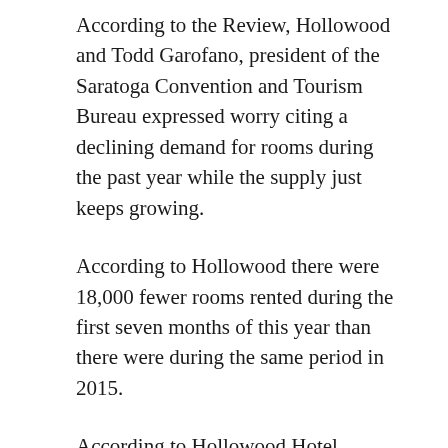According to the Review, Hollowood and Todd Garofano, president of the Saratoga Convention and Tourism Bureau expressed worry citing a declining demand for rooms during the past year while the supply just keeps growing.
According to Hollowood there were 18,000 fewer rooms rented during the first seven months of this year than there were during the same period in 2015.
According to Hollowood Hotel Indigo's average room rate is expected to be about $50 higher than many of hotels in Saratoga Springs. $170.00 is the average year round rate (this includes the sky rocketing amounts paid during racing).
Hollowood's (partial, cut off at bottom)